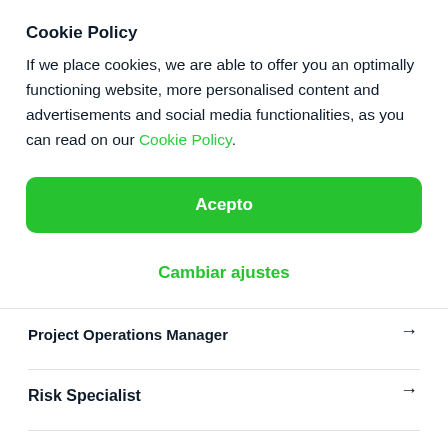Cookie Policy
If we place cookies, we are able to offer you an optimally functioning website, more personalised content and advertisements and social media functionalities, as you can read on our Cookie Policy.
Acepto
Cambiar ajustes
Project Operations Manager →
Risk Specialist →